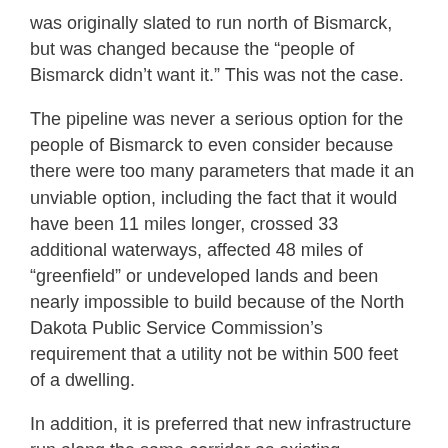was originally slated to run north of Bismarck, but was changed because the “people of Bismarck didn’t want it.” This was not the case.
The pipeline was never a serious option for the people of Bismarck to even consider because there were too many parameters that made it an unviable option, including the fact that it would have been 11 miles longer, crossed 33 additional waterways, affected 48 miles of “greenfield” or undeveloped lands and been nearly impossible to build because of the North Dakota Public Service Commission’s requirement that a utility not be within 500 feet of a dwelling.
In addition, it is preferred that new infrastructure run along the same corridor as existing infrastructure, otherwise known as “brownfield.”
So, a better alternative seemed to be to follow the present route of a natural gas pipeline built in 1982 and